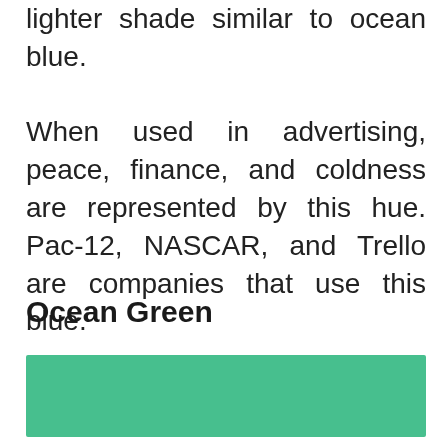lighter shade similar to ocean blue. When used in advertising, peace, finance, and coldness are represented by this hue. Pac-12, NASCAR, and Trello are companies that use this blue.
Ocean Green
[Figure (other): A solid ocean green color swatch rectangle]